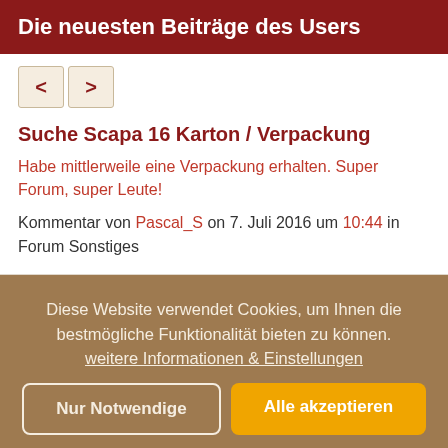Die neuesten Beiträge des Users
Suche Scapa 16 Karton / Verpackung
Habe mittlerweile eine Verpackung erhalten. Super Forum, super Leute!
Kommentar von Pascal_S on 7. Juli 2016 um 10:44 in Forum Sonstiges
Diese Website verwendet Cookies, um Ihnen die bestmögliche Funktionalität bieten zu können.
weitere Informationen & Einstellungen
Nur Notwendige
Alle akzeptieren
Impressum | Datenschutzhinweise